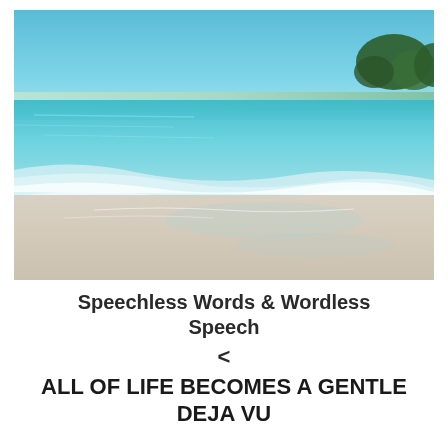[Figure (photo): A tropical beach scene with clear turquoise water gently washing onto a wide white sandy beach, with a treeline visible in the upper right background under a blue sky.]
Speechless Words & Wordless Speech
<
ALL OF LIFE BECOMES A GENTLE DEJA VU